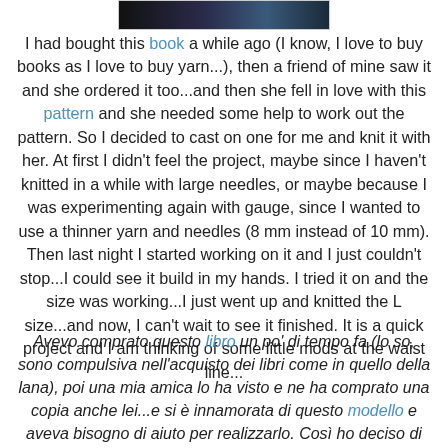[Figure (photo): Top portion of a dark photograph strip showing what appears to be a knitting book cover]
I had bought this book a while ago (I know, I love to buy books as I love to buy yarn...), then a friend of mine saw it and she ordered it too...and then she fell in love with this pattern and she needed some help to work out the pattern. So I decided to cast on one for me and knit it with her. At first I didn't feel the project, maybe since I haven't knitted in a while with large needles, or maybe because I was experimenting again with gauge, since I wanted to use a thinner yarn and needles (8 mm instead of 10 mm). Then last night I started working on it and I just couldn't stop...I could see it build in my hands. I tried it on and the size was working...I just went up and knitted the L size...and now, I can't wait to see it finished. It is a quick project and I am thinking of some little mods at the waist line...
Avevo comprato questo libro un po' di tempo fa (lo so, sono compulsiva nell'acquisto dei libri come in quello della lana), poi una mia amica lo ha visto e ne ha comprato una copia anche lei...e si è innamorata di questo modello e aveva bisogno di aiuto per realizzarlo. Così ho deciso di avviarne